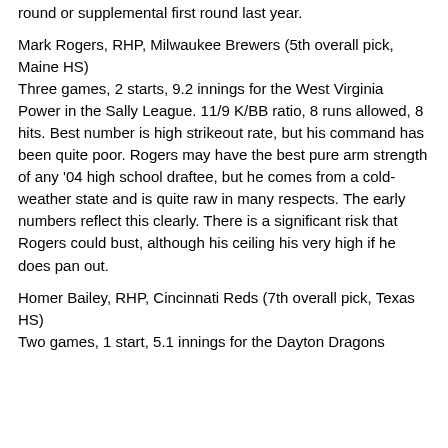round or supplemental first round last year.
Mark Rogers, RHP, Milwaukee Brewers (5th overall pick, Maine HS)
Three games, 2 starts, 9.2 innings for the West Virginia Power in the Sally League. 11/9 K/BB ratio, 8 runs allowed, 8 hits. Best number is high strikeout rate, but his command has been quite poor. Rogers may have the best pure arm strength of any '04 high school draftee, but he comes from a cold-weather state and is quite raw in many respects. The early numbers reflect this clearly. There is a significant risk that Rogers could bust, although his ceiling his very high if he does pan out.
Homer Bailey, RHP, Cincinnati Reds (7th overall pick, Texas HS)
Two games, 1 start, 5.1 innings for the Dayton Dragons